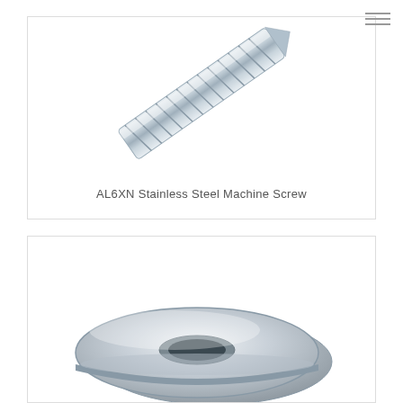[Figure (photo): AL6XN Stainless Steel Machine Screw — close-up photo of a threaded stainless steel machine screw shaft at an angle, showing silver metallic threads.]
AL6XN Stainless Steel Machine Screw
[Figure (photo): AL6XN Stainless Steel Flat Washers — two stainless steel flat washers, one stacked behind the other, showing silver metallic finish with center hole.]